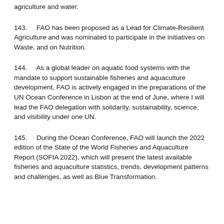agriculture and water.
143.    FAO has been proposed as a Lead for Climate-Resilient Agriculture and was nominated to participate in the initiatives on Waste, and on Nutrition.
144.    As a global leader on aquatic food systems with the mandate to support sustainable fisheries and aquaculture development, FAO is actively engaged in the preparations of the UN Ocean Conference in Lisbon at the end of June, where I will lead the FAO delegation with solidarity, sustainability, science, and visibility under one UN.
145.    During the Ocean Conference, FAO will launch the 2022 edition of the State of the World Fisheries and Aquaculture Report (SOFIA 2022), which will present the latest available fisheries and aquaculture statistics, trends, development patterns and challenges, as well as Blue Transformation.